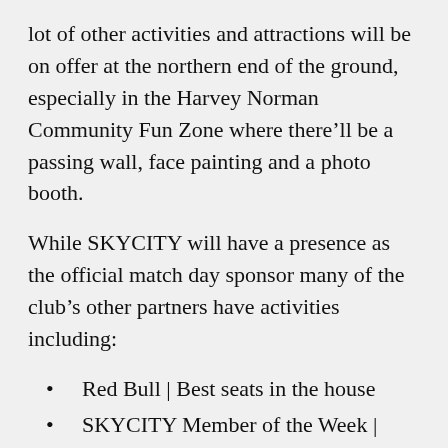lot of other activities and attractions will be on offer at the northern end of the ground, especially in the Harvey Norman Community Fun Zone where there'll be a passing wall, face painting and a photo booth.
While SKYCITY will have a presence as the official match day sponsor many of the club's other partners have activities including:
Red Bull | Best seats in the house
SKYCITY Member of the Week | Enter in the Members' Clubrooms or online
DTR | VIP experience
Flava | Favourite Fans (photos taken inside